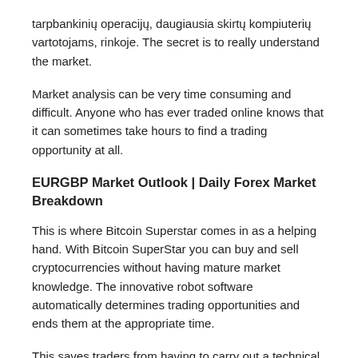tarpbankinių operacijų, daugiausia skirtų kompiuterių vartotojams, rinkoje. The secret is to really understand the market.
Market analysis can be very time consuming and difficult. Anyone who has ever traded online knows that it can sometimes take hours to find a trading opportunity at all.
EURGBP Market Outlook | Daily Forex Market Breakdown
This is where Bitcoin Superstar comes in as a helping hand. With Bitcoin SuperStar you can buy and sell cryptocurrencies without having mature market knowledge. The innovative robot software automatically determines trading opportunities and ends them at the appropriate time.
This saves traders from having to carry out a technical